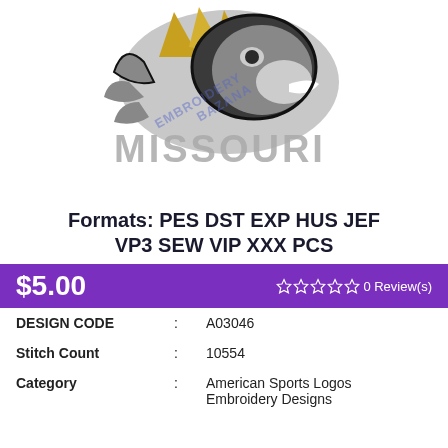[Figure (photo): Missouri Tigers embroidered patch showing a tiger head logo above the text MISSOURI in gray block letters, with a watermark overlay reading EMBROIDERY BAZANA]
Formats: PES DST EXP HUS JEF VP3 SEW VIP XXX PCS
$5.00  ☆☆☆☆☆ 0 Review(s)
| DESIGN CODE | : | A03046 |
| Stitch Count | : | 10554 |
| Category | : | American Sports Logos Embroidery Designs |